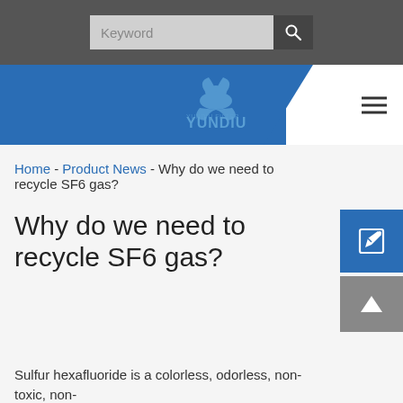Keyword [search bar]
[Figure (logo): YUNDIU company logo with stylized whale/bird icon in blue, on blue navigation bar with diagonal cut to white and hamburger menu icon]
Home - Product News - Why do we need to recycle SF6 gas?
Why do we need to recycle SF6 gas?
Sulfur hexafluoride is a colorless, odorless, non-toxic, non-